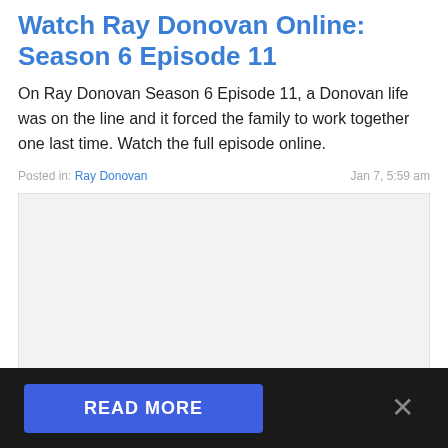Watch Ray Donovan Online: Season 6 Episode 11
On Ray Donovan Season 6 Episode 11, a Donovan life was on the line and it forced the family to work together one last time. Watch the full episode online.
Posted in: Ray Donovan   Jan 7, 5:59 am
[Figure (other): Light gray placeholder image area]
READ MORE